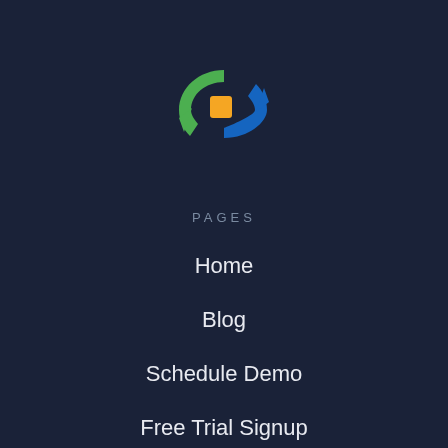[Figure (logo): Circular arrow logo with green left arrow and blue right arrow, with an orange square in the center]
PAGES
Home
Blog
Schedule Demo
Free Trial Signup
Podcast